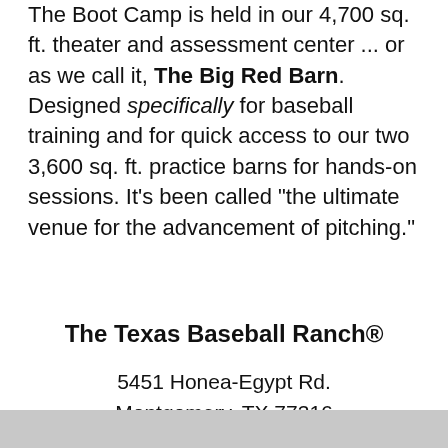The Boot Camp is held in our 4,700 sq. ft. theater and assessment center ... or as we call it, The Big Red Barn. Designed specifically for baseball training and for quick access to our two 3,600 sq. ft. practice barns for hands-on sessions. It's been called "the ultimate venue for the advancement of pitching."
The Texas Baseball Ranch®
5451 Honea-Egypt Rd.
Montgomery, TX 77316
Phone: 936-588-6762